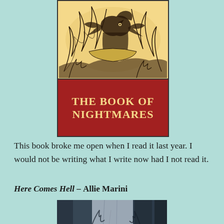[Figure (illustration): Book cover of 'The Book of Nightmares' with a dark woodcut illustration of birds and creatures on a yellow background, and the title in gold letters on a dark red background.]
This book broke me open when I read it last year. I would not be writing what I write now had I not read it.
Here Comes Hell – Allie Marini
[Figure (photo): A dark moody photograph showing abstract shapes with a hand silhouette, featuring dark blues and grays.]